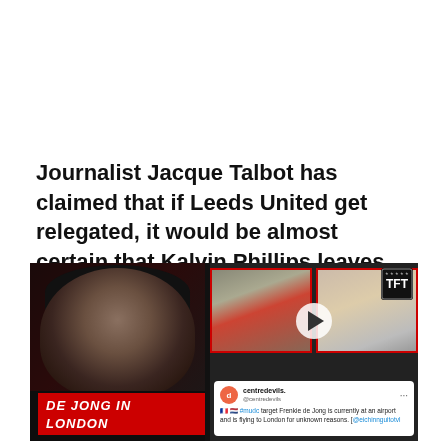Journalist Jacque Talbot has claimed that if Leeds United get relegated, it would be almost certain that Kalvin Phillips leaves.
[Figure (screenshot): Video thumbnail showing a TFT Transfer Update about De Jong in London. Left side shows a presenter wearing a black cap. Right side shows two video frames of a person at an airport. Bottom overlay includes a tweet from @centredevils saying a MUFC target Frenkie de Jong is at an airport flying to London. Bottom bar reads TRANSFER UPDATE / DE JONG IN LONDON in red.]